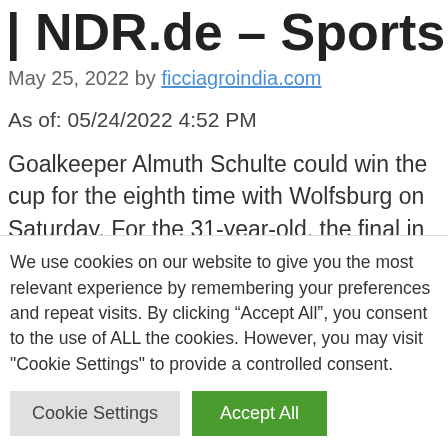| NDR.de – Sports
May 25, 2022 by ficciagroindia.com
As of: 05/24/2022 4:52 PM
Goalkeeper Almuth Schulte could win the cup for the eighth time with Wolfsburg on Saturday. For the 31-year-old, the final in Cologne against Turbine Potsdam is also the
We use cookies on our website to give you the most relevant experience by remembering your preferences and repeat visits. By clicking "Accept All", you consent to the use of ALL the cookies. However, you may visit "Cookie Settings" to provide a controlled consent.